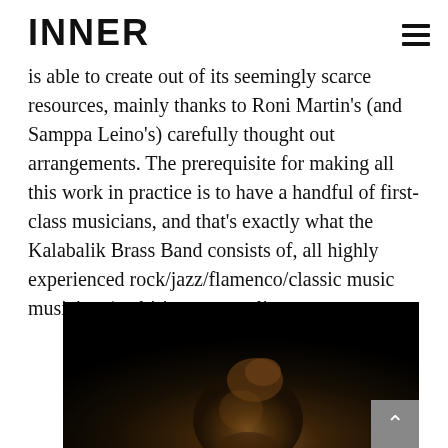INNER
is able to create out of its seemingly scarce resources, mainly thanks to Roni Martin's (and Samppa Leino's) carefully thought out arrangements. The prerequisite for making all this work in practice is to have a handful of first-class musicians, and that's exactly what the Kalabalik Brass Band consists of, all highly experienced rock/jazz/flamenco/classic music  musicians/multi-instrumentalists.
[Figure (photo): Dark photograph showing a person with hair in an updo, lit from below in warm amber tones against a very dark background.]